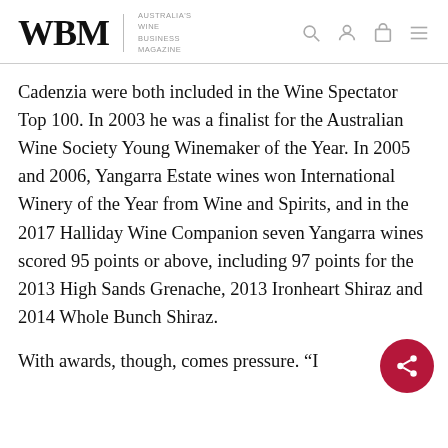WBM — Australia's Wine Business Magazine
Cadenzia were both included in the Wine Spectator Top 100. In 2003 he was a finalist for the Australian Wine Society Young Winemaker of the Year. In 2005 and 2006, Yangarra Estate wines won International Winery of the Year from Wine and Spirits, and in the 2017 Halliday Wine Companion seven Yangarra wines scored 95 points or above, including 97 points for the 2013 High Sands Grenache, 2013 Ironheart Shiraz and 2014 Whole Bunch Shiraz.
With awards, though, comes pressure. “I